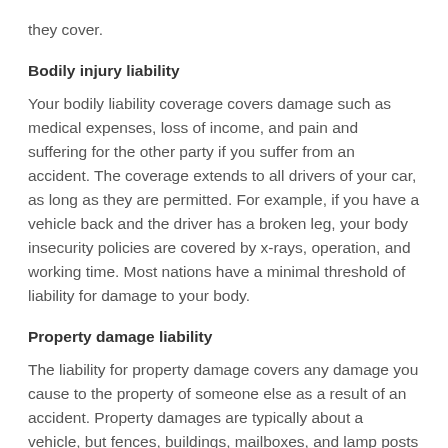they cover.
Bodily injury liability
Your bodily liability coverage covers damage such as medical expenses, loss of income, and pain and suffering for the other party if you suffer from an accident. The coverage extends to all drivers of your car, as long as they are permitted. For example, if you have a vehicle back and the driver has a broken leg, your body insecurity policies are covered by x-rays, operation, and working time. Most nations have a minimal threshold of liability for damage to your body.
Property damage liability
The liability for property damage covers any damage you cause to the property of someone else as a result of an accident. Property damages are typically about a vehicle, but fences, buildings, mailboxes, and lamp posts may also be included. If you run into a post or your neighbor's mailbox, this coverage